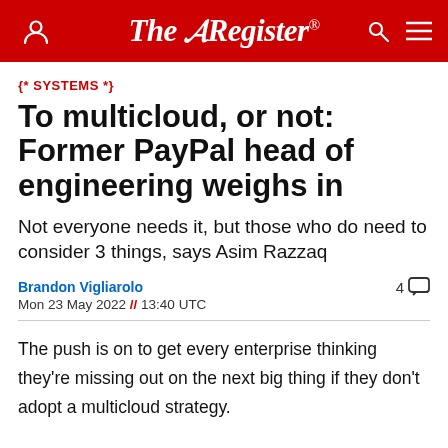The Register®
{* SYSTEMS *}
To multicloud, or not: Former PayPal head of engineering weighs in
Not everyone needs it, but those who do need to consider 3 things, says Asim Razzaq
Brandon Vigliarolo
Mon 23 May 2022 // 13:40 UTC
The push is on to get every enterprise thinking they're missing out on the next big thing if they don't adopt a multicloud strategy.